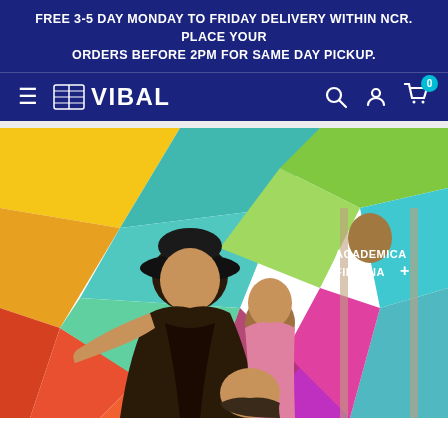FREE 3-5 DAY MONDAY TO FRIDAY DELIVERY WITHIN NCR. PLACE YOUR ORDERS BEFORE 2PM FOR SAME DAY PICKUP.
VIBAL — navigation bar with hamburger menu, logo, search, account, and cart icons
[Figure (photo): Product book cover image showing the 'Academica Filipina+' brand with multiple young people posed against a colorful geometric polygon background in yellow, orange, red, teal, green, and pink tones. A man in a black hat and tattoos, a student in a pink polo, and a young woman are featured prominently.]